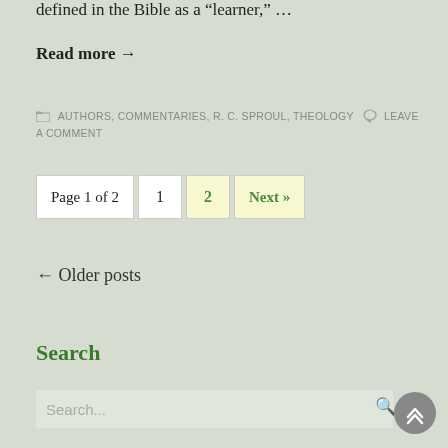defined in the Bible as a “learner,” …
Read more →
AUTHORS, COMMENTARIES, R. C. SPROUL, THEOLOGY   LEAVE A COMMENT
Page 1 of 2  1  2  Next »
← Older posts
Search
Search...